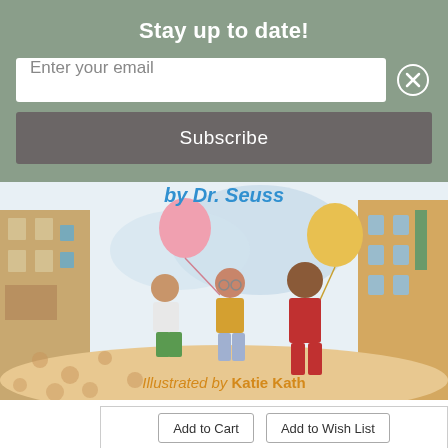Stay up to date!
Enter your email
Subscribe
[Figure (illustration): Book cover illustration showing three children running and holding balloons on a cobblestone street, with city buildings in the background. Text at top reads 'by Dr. Seuss'. Illustrated by Katie Kath.]
Illustrated by Katie Kath
Add to Cart
Add to Wish List